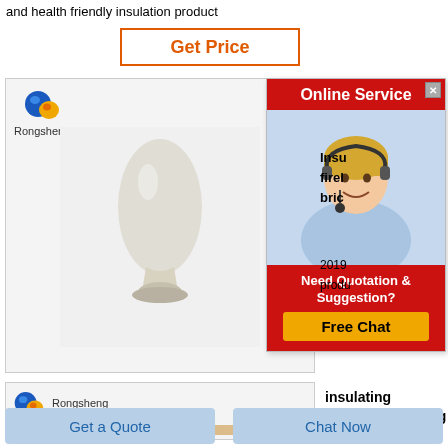and health friendly insulation product
Get Price
[Figure (photo): Product image showing a white powder in a vase-like glass container, with Rongsheng logo in top-left corner]
[Figure (screenshot): Online Service popup with red header, female customer service agent with headset, and Free Chat button]
Insu firel bric
2019
produ
[Figure (photo): Second product card with Rongsheng logo, partially visible product image]
insulating firebrickinsulating brick
Get a Quote
Chat Now